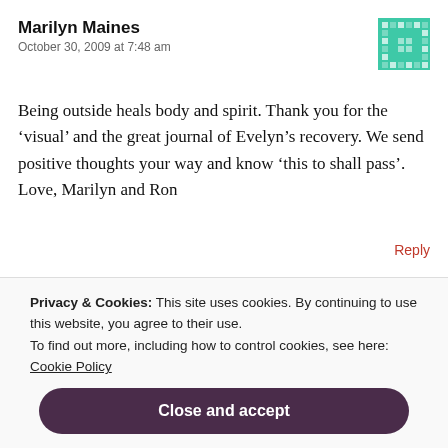Marilyn Maines
October 30, 2009 at 7:48 am
Being outside heals body and spirit. Thank you for the ‘visual’ and the great journal of Evelyn’s recovery. We send positive thoughts your way and know ‘this to shall pass’. Love, Marilyn and Ron
Reply
Privacy & Cookies: This site uses cookies. By continuing to use this website, you agree to their use. To find out more, including how to control cookies, see here: Cookie Policy
Close and accept